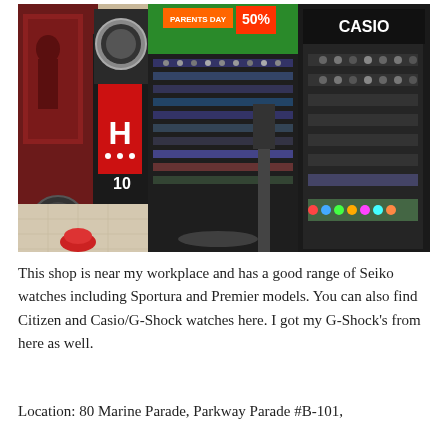[Figure (photo): A photo of a watch shop in a mall. The shop displays Casio branding and features multiple glass display cases filled with watches including Seiko, Casio, and G-Shock models. There is a promotional banner showing 50% off, and various watch display stands and illuminated showcases are visible.]
This shop is near my workplace and has a good range of Seiko watches including Sportura and Premier models. You can also find Citizen and Casio/G-Shock watches here. I got my G-Shock's from here as well.
Location: 80 Marine Parade, Parkway Parade #B-101,